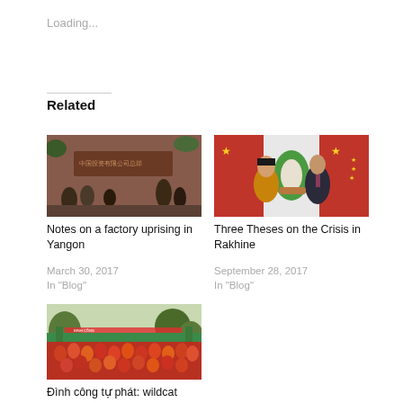Loading...
Related
[Figure (photo): People walking in front of a wall with Chinese characters, Yangon factory scene]
Notes on a factory uprising in Yangon
March 30, 2017
In "Blog"
[Figure (photo): Two people shaking hands in front of red Chinese flags and Myanmar/NLD flags — appears to be Aung San Suu Kyi and Xi Jinping]
Three Theses on the Crisis in Rakhine
September 28, 2017
In "Blog"
[Figure (photo): Large crowd of people in red and orange at a protest or demonstration with a green overpass bridge and trees in background]
Đình công tự phát: wildcat strikes in post-